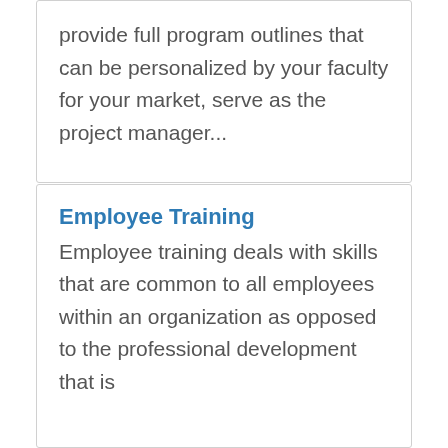provide full program outlines that can be personalized by your faculty for your market, serve as the project manager...
Employee Training
Employee training deals with skills that are common to all employees within an organization as opposed to the professional development that is